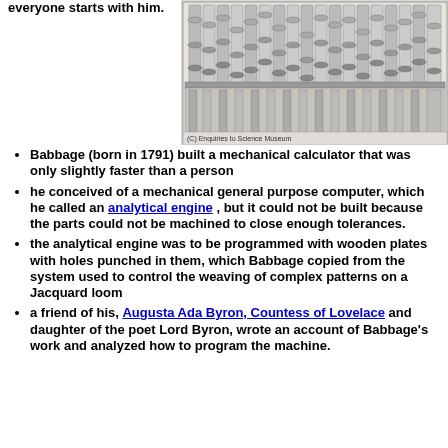everyone starts with him.
[Figure (illustration): Engraving of Babbage's mechanical calculator/analytical engine, a complex mechanical device with gears and columns. Caption reads: (C) Enquiries to Science Museum]
Babbage (born in 1791) built a mechanical calculator that was only slightly faster than a person
he conceived of a mechanical general purpose computer, which he called an analytical engine , but it could not be built because the parts could not be machined to close enough tolerances.
the analytical engine was to be programmed with wooden plates with holes punched in them, which Babbage copied from the system used to control the weaving of complex patterns on a Jacquard loom
a friend of his, Augusta Ada Byron, Countess of Lovelace and daughter of the poet Lord Byron, wrote an account of Babbage's work and analyzed how to program the machine.